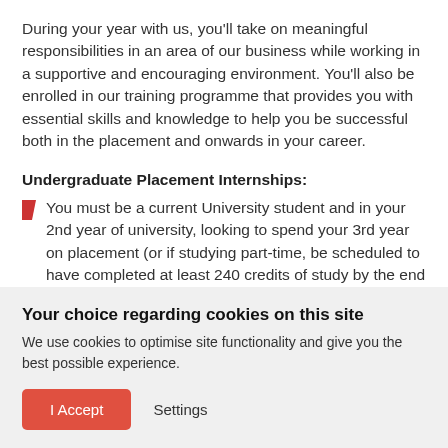During your year with us, you'll take on meaningful responsibilities in an area of our business while working in a supportive and encouraging environment. You'll also be enrolled in our training programme that provides you with essential skills and knowledge to help you be successful both in the placement and onwards in your career.
Undergraduate Placement Internships:
You must be a current University student and in your 2nd year of university, looking to spend your 3rd year on placement (or if studying part-time, be scheduled to have completed at least 240 credits of study by the end of the current academic year, with at least 1 year
Your choice regarding cookies on this site
We use cookies to optimise site functionality and give you the best possible experience.